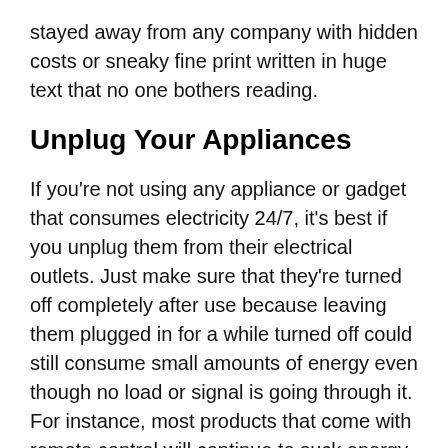stayed away from any company with hidden costs or sneaky fine print written in huge text that no one bothers reading.
Unplug Your Appliances
If you're not using any appliance or gadget that consumes electricity 24/7, it's best if you unplug them from their electrical outlets. Just make sure that they're turned off completely after use because leaving them plugged in for a while turned off could still consume small amounts of energy even though no load or signal is going through it. For instance, most products that come with remote control will continue to suck energy if they are left plugged in even after you